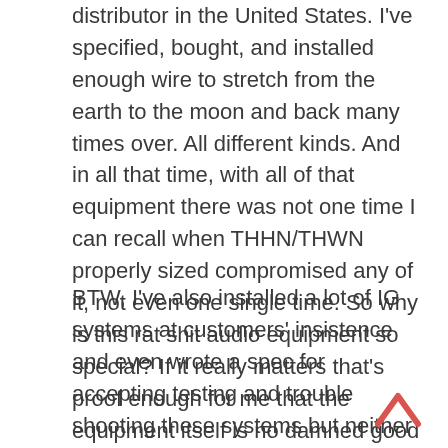distributor in the United States. I've specified, bought, and installed enough wire to stretch from the earth to the moon and back many times over. All different kinds. And in all that time, with all of that equipment there was not one time I can recall when THHN/THWN properly sized compromised any of it, not even one single time. So why is this rat shit audio equipment so special? If it really matters that's proof enough for me that the equipment itself is no damned good and is sufficient to reject it. Its power supply is junk.
BTW, I've also installed a lot of IG systems at customers' insistence and even wrote a spec for accepting testing and trouble shooting these systems but neither I nor any electrical contractor or journeyman I met ever saw a problem that installing IG fixed. The problems if there were any